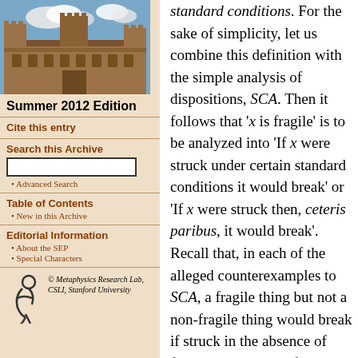[Figure (photo): Photograph of a university building (stone architecture) against a blue sky with clouds]
Summer 2012 Edition
Cite this entry
Search this Archive
Advanced Search
Table of Contents
New in this Archive
Editorial Information
About the SEP
Special Characters
[Figure (logo): Metaphysics Research Lab logo with stylized figure]
© Metaphysics Research Lab, CSLI, Stanford University
standard conditions. For the sake of simplicity, let us combine this definition with the simple analysis of dispositions, SCA. Then it follows that 'x is fragile' is to be analyzed into 'If x were struck under certain standard conditions it would break' or 'If x were struck then, ceteris paribus, it would break'. Recall that, in each of the alleged counterexamples to SCA, a fragile thing but not a non-fragile thing would break if struck in the absence of finks, reverse-cycle finks, maskers, mimickers, and so on. To the extent to which cases of finks, reverse-cycle finks, etc., are non-standard, therefore, the